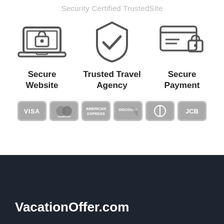Security Certified TrustedSite
[Figure (illustration): Three security icons: laptop with padlock (Secure Website), shield with checkmark (Trusted Travel Agency), credit card with padlock (Secure Payment)]
Secure Website
Trusted Travel Agency
Secure Payment
[Figure (illustration): Six accepted payment method logos in grayscale: VISA, Mastercard, American Express, Discover, Diners Club, JCB]
VacationOffer.com